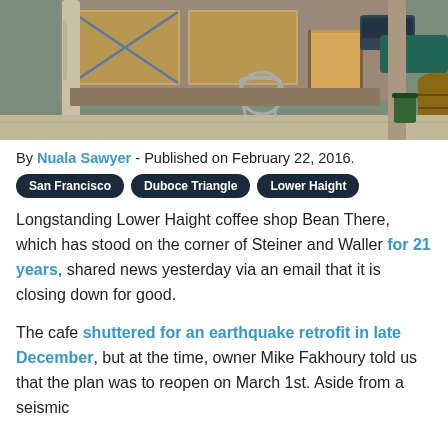[Figure (photo): Street-level photo of a closed storefront with boarded windows, wooden barrels near the entrance, and a sidewalk with trees and parked cars visible]
By Nuala Sawyer - Published on February 22, 2016.
San Francisco
Duboce Triangle
Lower Haight
Longstanding Lower Haight coffee shop Bean There, which has stood on the corner of Steiner and Waller for 21 years, shared news yesterday via an email that it is closing down for good.
The cafe shuttered for an earthquake retrofit in late December, but at the time, owner Mike Fakhoury told us that the plan was to reopen on March 1st. Aside from a seismic